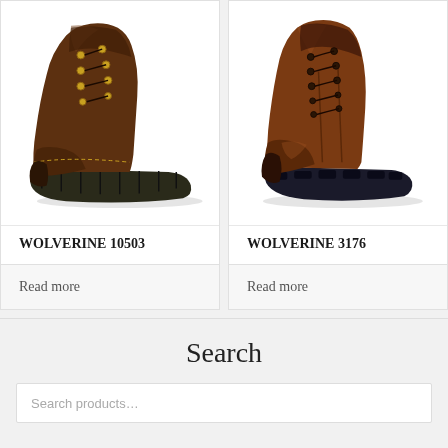[Figure (photo): Brown leather Wolverine work boot, left-side view, with gold eyelets and black lug sole]
WOLVERINE 10503
Read more
[Figure (photo): Brown leather Wolverine work boot, side view, tall shaft with dark laces and black lug sole]
WOLVERINE 3176
Read more
Search
Search products…